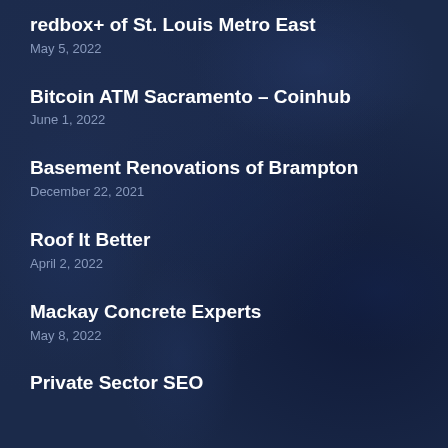redbox+ of St. Louis Metro East
May 5, 2022
Bitcoin ATM Sacramento – Coinhub
June 1, 2022
Basement Renovations of Brampton
December 22, 2021
Roof It Better
April 2, 2022
Mackay Concrete Experts
May 8, 2022
Private Sector SEO